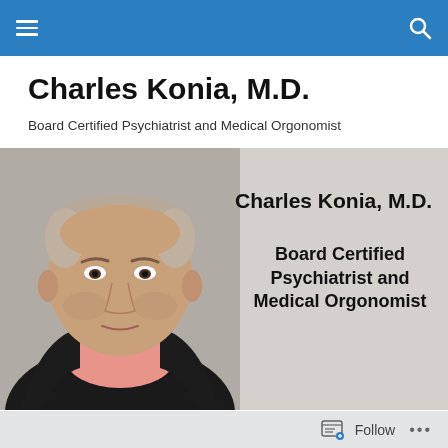Navigation bar with hamburger menu and search icon
Charles Konia, M.D.
Board Certified Psychiatrist and Medical Orgonomist
[Figure (photo): Profile photo of Charles Konia M.D., an elderly man in a dark jacket and pink shirt, with overlaid text reading 'Charles Konia, M.D.' and 'Board Certified Psychiatrist and Medical Orgonomist']
Follow  ...